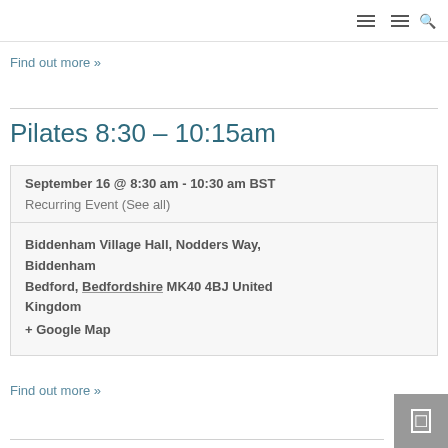Navigation bar with hamburger menus and search icon
Find out more »
Pilates 8:30 – 10:15am
| September 16 @ 8:30 am - 10:30 am BST |
| Recurring Event (See all) |
| Biddenham Village Hall, Nodders Way, Biddenham
Bedford, Bedfordshire MK40 4BJ United Kingdom
+ Google Map |
Find out more »